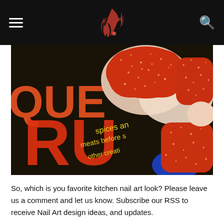Navigation header with hamburger menu, logo, and search icon
[Figure (photo): Close-up photo of glittery red/orange nail art on fingernails, posed over a dark cookbook or packaging with orange text reading partial words including 'QUE', 'RU', 'spices an', 'meats before s', 'other creati', '5G', '.com'. Logo and text in red, yellow, blue visible on dark background.]
So, which is you favorite kitchen nail art look? Please leave us a comment and let us know. Subscribe our RSS to receive Nail Art design ideas, and updates.